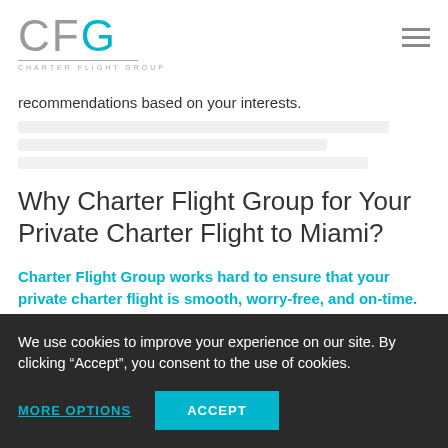CFG CHARTER FLIGHT GROUP
recommendations based on your interests.
Why Charter Flight Group for Your Private Charter Flight to Miami?
Charter Flight Group works hard to ensure that your private charter flight is smooth, worry-free, and on-time.
We pride ourselves on safety, comfort, reliability, and our
We use cookies to improve your experience on our site. By clicking “Accept”, you consent to the use of cookies.
MORE OPTIONS   ACCEPT